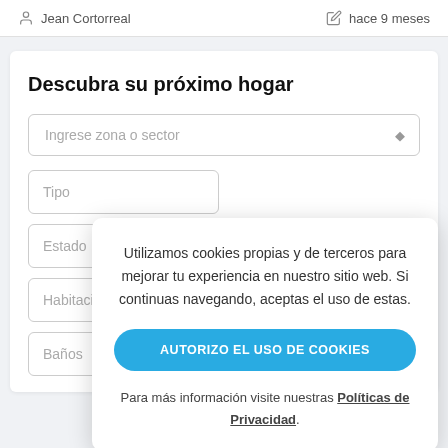Jean Cortorreal
hace 9 meses
Descubra su próximo hogar
Ingrese zona o sector
Tipo
Estado
Habitaciones
Baños
Utilizamos cookies propias y de terceros para mejorar tu experiencia en nuestro sitio web. Si continuas navegando, aceptas el uso de estas.
AUTORIZO EL USO DE COOKIES
Para más información visite nuestras Políticas de Privacidad.